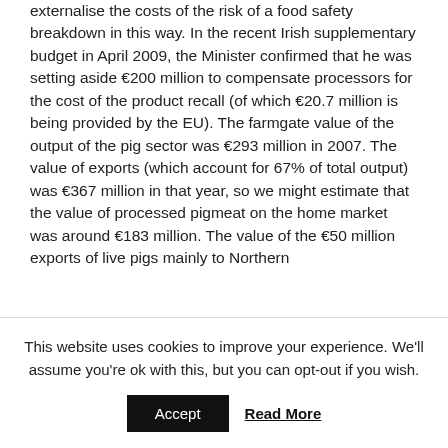externalise the costs of the risk of a food safety breakdown in this way. In the recent Irish supplementary budget in April 2009, the Minister confirmed that he was setting aside €200 million to compensate processors for the cost of the product recall (of which €20.7 million is being provided by the EU). The farmgate value of the output of the pig sector was €293 million in 2007. The value of exports (which account for 67% of total output) was €367 million in that year, so we might estimate that the value of processed pigmeat on the home market was around €183 million. The value of the €50 million exports of live pigs mainly to Northern
This website uses cookies to improve your experience. We'll assume you're ok with this, but you can opt-out if you wish.
Accept
Read More